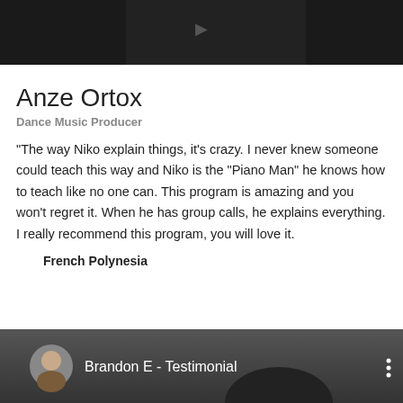[Figure (screenshot): Top portion of a video thumbnail showing a dark/black background with a person partially visible]
Anze Ortox
Dance Music Producer
“The way Niko explain things, it’s crazy. I never knew someone could teach this way and Niko is the “Piano Man” he knows how to teach like no one can. This program is amazing and you won’t regret it. When he has group calls, he explains everything. I really recommend this program, you will love it.
French Polynesia
[Figure (screenshot): Bottom video thumbnail showing Brandon E - Testimonial with avatar and dark background with a person visible]